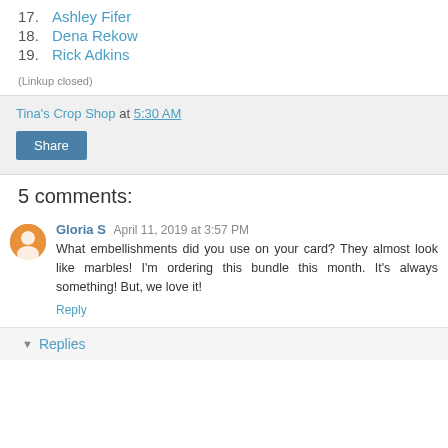17. Ashley Fifer
18. Dena Rekow
19. Rick Adkins
(Linkup closed)
Tina's Crop Shop at 5:30 AM
5 comments:
Gloria S April 11, 2019 at 3:57 PM
What embellishments did you use on your card? They almost look like marbles! I'm ordering this bundle this month. It's always something! But, we love it!
Reply
Replies